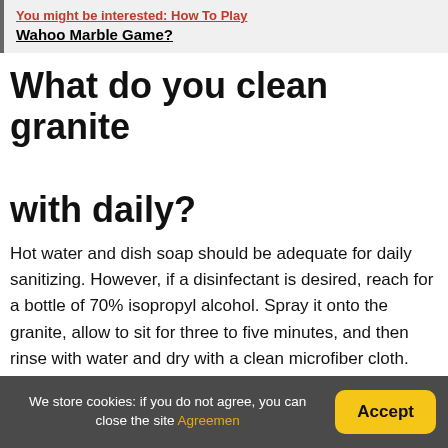You might be interested: How To Play Wahoo Marble Game?
What do you clean granite with daily?
Hot water and dish soap should be adequate for daily sanitizing. However, if a disinfectant is desired, reach for a bottle of 70% isopropyl alcohol. Spray it onto the granite, allow to sit for three to five minutes, and then rinse with water and dry with a clean microfiber cloth. Avoid bleach or ammonia-based cleaners.
How do you make marble
We store cookies: if you do not agree, you can close the site Agreemen